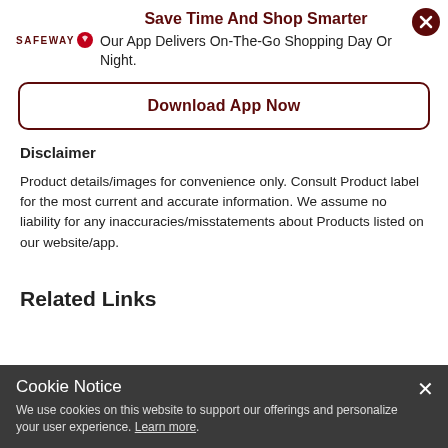[Figure (logo): Safeway logo with red circular icon]
Save Time And Shop Smarter
Our App Delivers On-The-Go Shopping Day Or Night.
Download App Now
Disclaimer
Product details/images for convenience only.  Consult Product label for the most current and accurate information.  We assume no liability for any inaccuracies/misstatements about Products listed on our website/app.
Related Links
Cookie Notice
We use cookies on this website to support our offerings and personalize your user experience. Learn more.